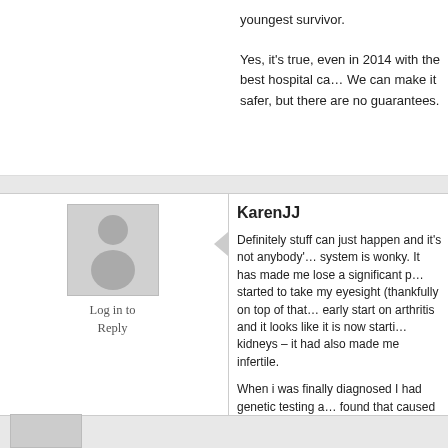Yes, it's true, even in 2014 with the best hospital ca… We can make it safer, but there are no guarantees.
[Figure (illustration): Generic user avatar silhouette icon in gray]
Log in to Reply
KarenJJ
Definitely stuff can just happen and it's not anybody's… system is wonky. It has made me lose a significant p… started to take my eyesight (thankfully on top of that… early start on arthritis and it looks like it is now starti… kidneys – it had also made me infertile.
When i was finally diagnosed I had genetic testing a… found that caused all my issues. It first randomly occ… parents. Nothing could have been done to prevent it… hasn't stopped people saying things like – maybe yo… too much yeast while pregnant.. People try to look fo… things like that won't happen to them. Bad stuff can… people and as much as someone tries to say otherw… because they are trying to sell something….